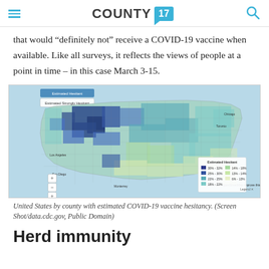COUNTY 17
that would “definitely not” receive a COVID-19 vaccine when available. Like all surveys, it reflects the views of people at a point in time – in this case March 3-15.
[Figure (map): Map of the United States by county showing estimated COVID-19 vaccine hesitancy, with a color gradient legend ranging from dark blue (30%-32%) to light yellow (6%-13%). The western states including parts of Wyoming, Colorado, and Montana show the darkest blue indicating highest hesitancy.]
United States by county with estimated COVID-19 vaccine hesitancy. (Screen Shot/data.cdc.gov, Public Domain)
Herd immunity